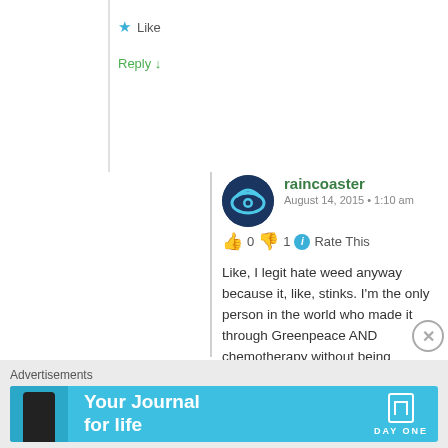★ Like
Reply ↓
raincoaster
August 14, 2015 • 1:10 am
👍 0 👎 1 ℹ Rate This
Like, I legit hate weed anyway because it, like, stinks. I'm the only person in the world who made it through Greenpeace AND chemotherapy without being tempted by weed.
★ Like
Reply ↓
Advertisements
[Figure (screenshot): Day One app advertisement banner with text 'Your Journal for life']